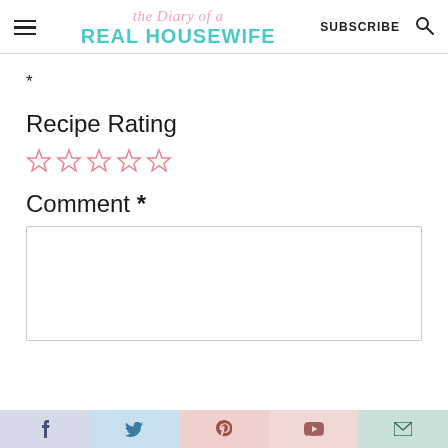the Diary of a REAL HOUSEWIFE | SUBSCRIBE
*
Recipe Rating
[Figure (other): Five empty/outline star rating icons in pink/salmon color]
Comment *
Social share bar: Facebook, Twitter, Pinterest, YouTube, Email